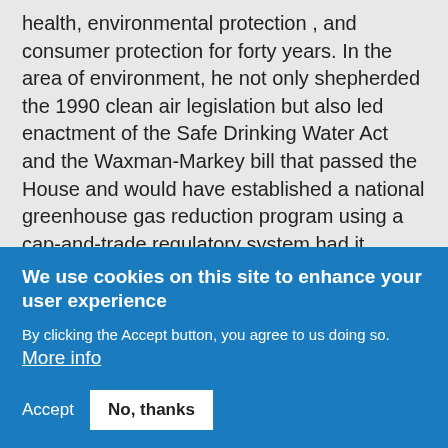health, environmental protection , and consumer protection for forty years.  In the area of environment, he not only shepherded the 1990 clean air legislation but also led enactment of the Safe Drinking Water Act and the Waxman-Markey bill that passed the House and would have established a national greenhouse gas reduction program using a cap-and-trade regulatory system had it passed the Senate.  The Affordable Care Act is one more milestone in his leadership on public health policy.
Waxman entered politics because he believes government can be a force for good.  He sees part of the job in the environmental arena as ensuring that business competitors had to meet the same
We use cookies on this site to enhance your user experience
By clicking the Accept button, you agree to us doing so. More info
Accept
No, thanks